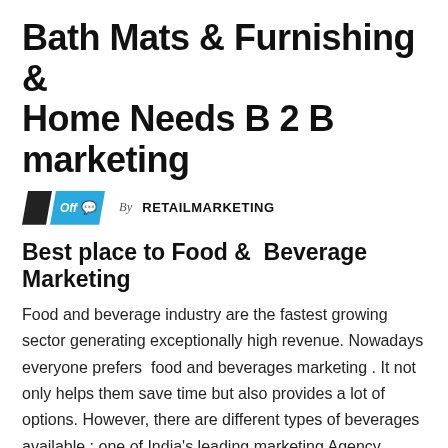Bath Mats & Furnishing & Home Needs B 2 B marketing
Off  By RETAILMARKETING
Best place to Food &  Beverage  Marketing
Food and beverage industry are the fastest growing sector generating exceptionally high revenue. Nowadays everyone prefers  food and beverages marketing . It not only helps them save time but also provides a lot of options. However, there are different types of beverages available ; one of India's leading marketing Agency.
Types of Beverages:
Furnishing & Home Needs: